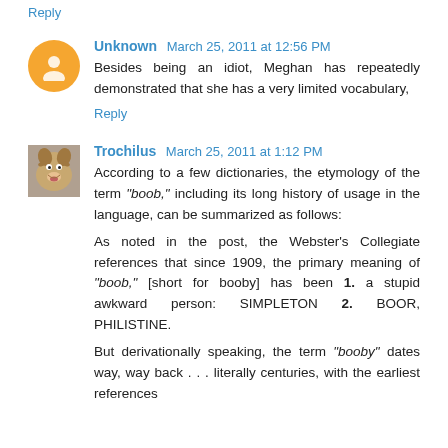Reply
Unknown March 25, 2011 at 12:56 PM
Besides being an idiot, Meghan has repeatedly demonstrated that she has a very limited vocabulary,
Reply
Trochilus March 25, 2011 at 1:12 PM
According to a few dictionaries, the etymology of the term "boob," including its long history of usage in the language, can be summarized as follows:
As noted in the post, the Webster's Collegiate references that since 1909, the primary meaning of "boob," [short for booby] has been 1. a stupid awkward person: SIMPLETON 2. BOOR, PHILISTINE.
But derivationally speaking, the term "booby" dates way, way back . . . literally centuries, with the earliest references